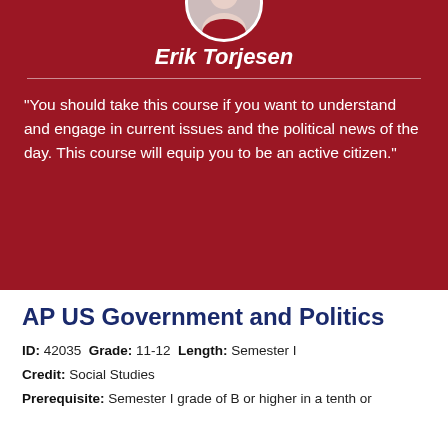[Figure (photo): Circular portrait photo of Erik Torjesen, a person wearing a red shirt, cropped at the top of the page]
Erik Torjesen
"You should take this course if you want to understand and engage in current issues and the political news of the day. This course will equip you to be an active citizen."
AP US Government and Politics
ID: 42035  Grade: 11-12  Length: Semester I
Credit: Social Studies
Prerequisite: Semester I grade of B or higher in a tenth or